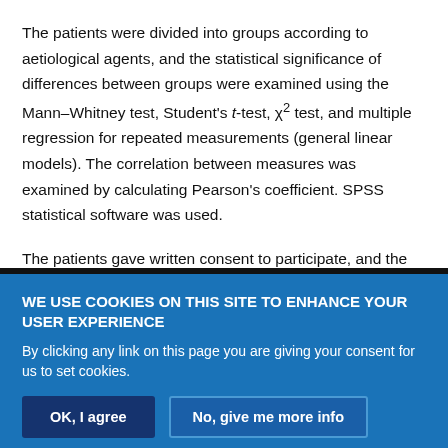The patients were divided into groups according to aetiological agents, and the statistical significance of differences between groups were examined using the Mann–Whitney test, Student's t-test, χ² test, and multiple regression for repeated measurements (general linear models). The correlation between measures was examined by calculating Pearson's coefficient. SPSS statistical software was used.
The patients gave written consent to participate, and the study was approved by the Regional Committee of Medical Research Ethics.
WE USE COOKIES ON THIS SITE TO ENHANCE YOUR USER EXPERIENCE
By clicking any link on this page you are giving your consent for us to set cookies.